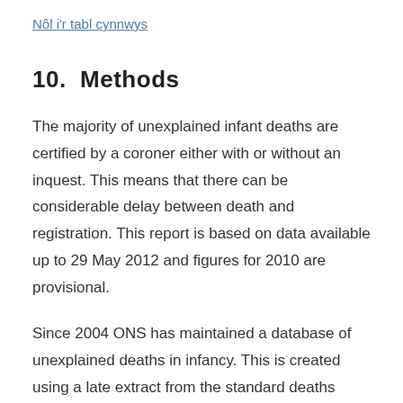Nôl i'r tabl cynnwys
10.  Methods
The majority of unexplained infant deaths are certified by a coroner either with or without an inquest. This means that there can be considerable delay between death and registration. This report is based on data available up to 29 May 2012 and figures for 2010 are provisional.
Since 2004 ONS has maintained a database of unexplained deaths in infancy. This is created using a late extract from the standard deaths registrations